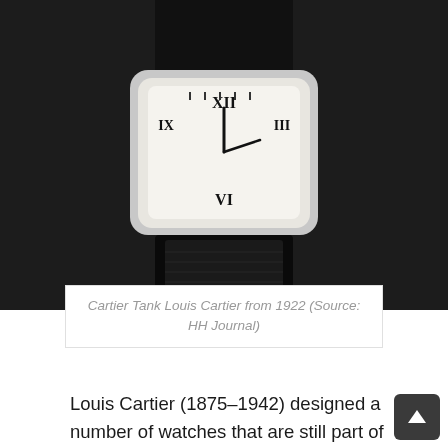[Figure (photo): Close-up photograph of a Cartier Tank Louis Cartier watch from 1922, showing the rectangular white dial with Roman numerals and a black leather strap, on a dark background.]
Cartier Tank Louis Cartier from 1922 (Source: HH Journal)
Louis Cartier (1875-1942) designed a number of watches that are still part of Cartier's lineup today, including the Santos, Tank, and Tortue. At that time Louis perhaps thought that the future of wristwatches meant non-round cases. This would also help distinguish them from the round pocket watches that had simply been adapted for the wrist. The first Cartier Tank watch was created in 1917 and the story goes that those initial models were given to General John Pershing of the American Expeditionar